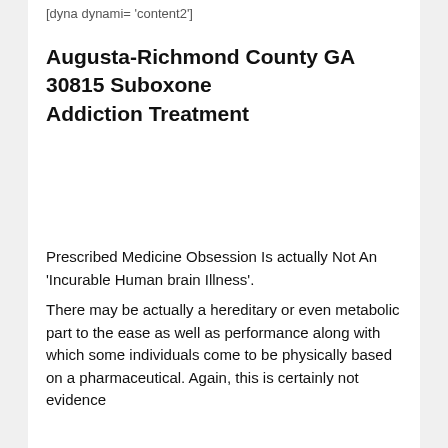[dyna dynami= 'content2']
Augusta-Richmond County GA 30815 Suboxone Addiction Treatment
Prescribed Medicine Obsession Is actually Not An 'Incurable Human brain Illness'.
There may be actually a hereditary or even metabolic part to the ease as well as performance along with which some individuals come to be physically based on a pharmaceutical. Again, this is certainly not evidence